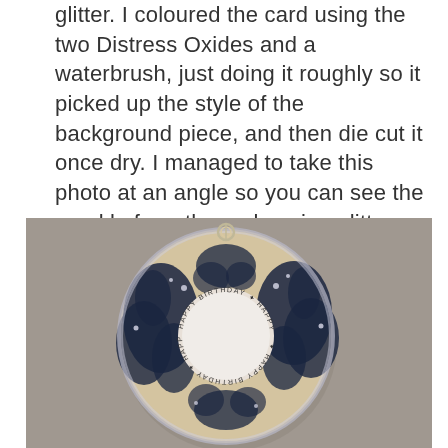glitter. I coloured the card using the two Distress Oxides and a waterbrush, just doing it roughly so it picked up the style of the background piece, and then die cut it once dry. I managed to take this photo at an angle so you can see the sparkle from the embossing glitter.
[Figure (photo): A circular die-cut card piece decorated with a blue toile-style botanical pattern (dark navy silhouette foliage on cream/tan background) with silver embossing glitter. The center has a ring/donut hole, and around the inner ring is stamped text reading 'HAPPY BIRTHDAY' repeated in a circular pattern. The piece is photographed from an angle against a gray background to show the sparkle of the embossing glitter.]